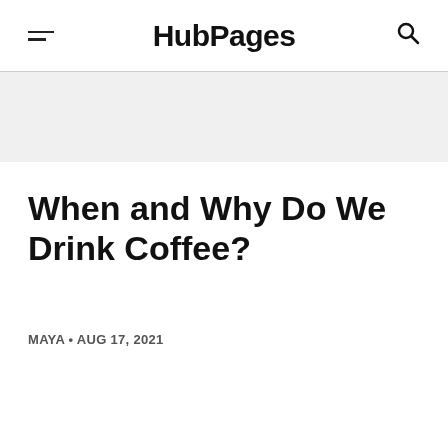HubPages
When and Why Do We Drink Coffee?
MAYA • AUG 17, 2021